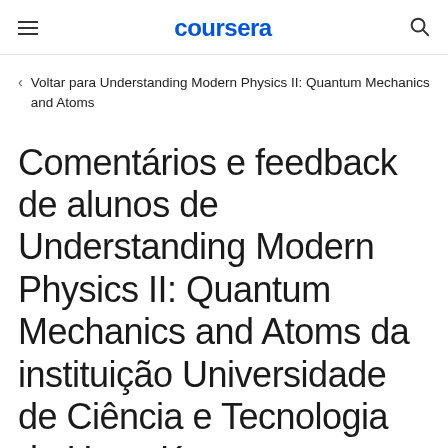coursera
Voltar para Understanding Modern Physics II: Quantum Mechanics and Atoms
Comentários e feedback de alunos de Understanding Modern Physics II: Quantum Mechanics and Atoms da instituição Universidade de Ciência e Tecnologia de Hong Kong